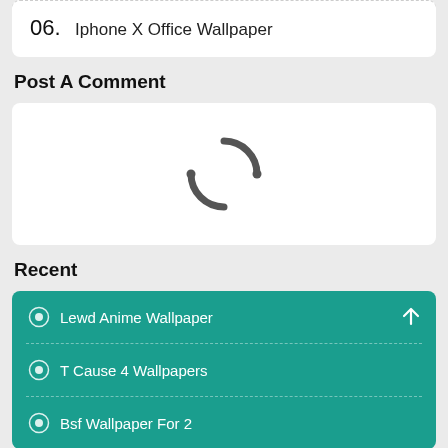06. Iphone X Office Wallpaper
Post A Comment
[Figure (other): Loading spinner animation — a circular arc indicator in dark grey on white background]
Recent
Lewd Anime Wallpaper
T Cause 4 Wallpapers
Bsf Wallpaper For 2